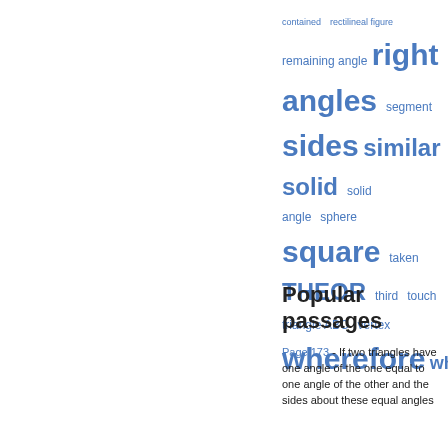[Figure (infographic): Word cloud of geometric/mathematical terms in blue, varying font sizes indicating frequency: contained, rectilineal figure, remaining angle, right angles, segment, sides, similar, solid, solid angle, sphere, square, taken, THEOR, third, touch, triangle ABC, vertex, wherefore, whole]
Popular passages
Page 173 - If two triangles have one angle of the one equal to one angle of the other and the sides about these equal angles